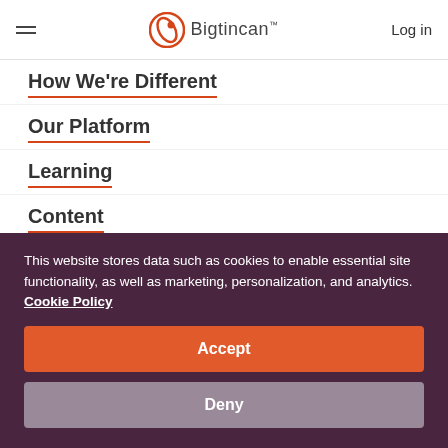Bigtincan — Log in
How We're Different
Our Platform
Learning
Content
Engagement
Security
This website stores data such as cookies to enable essential site functionality, as well as marketing, personalization, and analytics. Cookie Policy
Accept
Deny